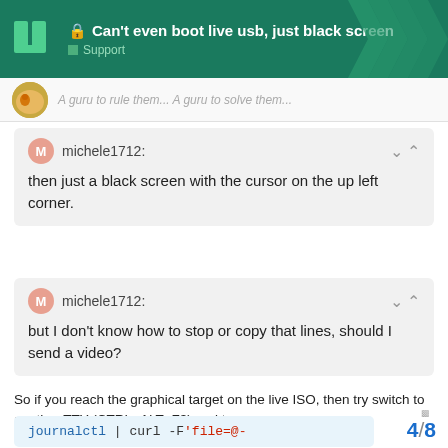Can't even boot live usb, just black screen — Support
A guru to rule them... A guru to solve them...
michele1712: then just a black screen with the cursor on the up left corner.
michele1712: but I don't know how to stop or copy that lines, should I send a video?
So if you reach the graphical target on the live ISO, then try switch to another TTY (CTRL+ALT+F3) and type:
journalctl | curl -F'file=@-
4 / 8